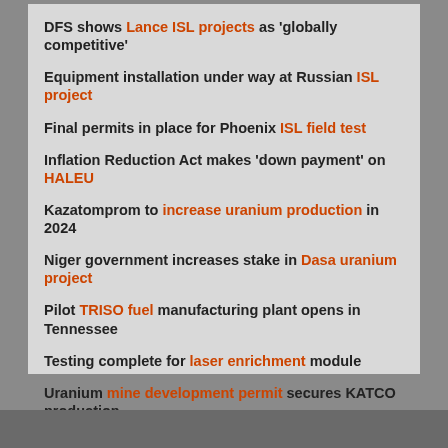DFS shows Lance ISL projects as 'globally competitive'
Equipment installation under way at Russian ISL project
Final permits in place for Phoenix ISL field test
Inflation Reduction Act makes 'down payment' on HALEU
Kazatomprom to increase uranium production in 2024
Niger government increases stake in Dasa uranium project
Pilot TRISO fuel manufacturing plant opens in Tennessee
Testing complete for laser enrichment module
Uranium mine development permit secures KATCO production